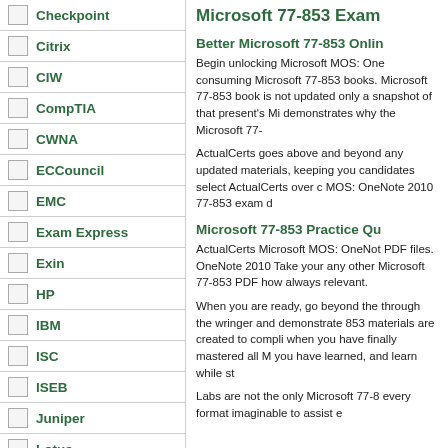Checkpoint
Citrix
CIW
CompTIA
CWNA
ECCouncil
EMC
Exam Express
Exin
HP
IBM
ISC
ISEB
Juniper
Lotus
LPI
Novell
Microsoft 77-853 Exam
Better Microsoft 77-853 Online
Begin unlocking Microsoft MOS: One consuming Microsoft 77-853 books. Microsoft 77-853 book is not updated only a snapshot of that present's Mi demonstrates why the Microsoft 77-
ActualCerts goes above and beyond any updated materials, keeping you candidates select ActualCerts over c MOS: OneNote 2010 77-853 exam d
Microsoft 77-853 Practice Qu
ActualCerts Microsoft MOS: OneNote PDF files. OneNote 2010 Take your any other Microsoft 77-853 PDF how always relevant.
When you are ready, go beyond the through the wringer and demonstrate 853 materials are created to compli when you have finally mastered all M you have learned, and learn while st
Labs are not the only Microsoft 77-8 every format imaginable to assist e